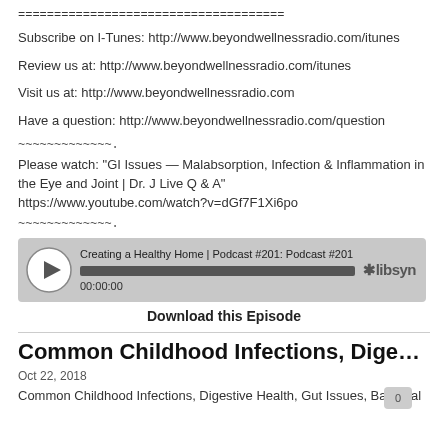=====================================
Subscribe on I-Tunes: http://www.beyondwellnessradio.com/itunes
Review us at: http://www.beyondwellnessradio.com/itunes
Visit us at: http://www.beyondwellnessradio.com
Have a question: http://www.beyondwellnessradio.com/question
~~~~~~~~~~~~~.
Please watch: "GI Issues — Malabsorption, Infection & Inflammation in the Eye and Joint | Dr. J Live Q & A"
https://www.youtube.com/watch?v=dGf7F1Xi6po
~~~~~~~~~~~~~.
[Figure (screenshot): Podcast audio player showing 'Creating a Healthy Home | Podcast #201: Podcast #201' with play button, progress bar, timestamp 00:00:00, and libsyn logo]
Download this Episode
Common Childhood Infections, Digestive H...
Oct 22, 2018
Common Childhood Infections, Digestive Health, Gut Issues, Bacterial